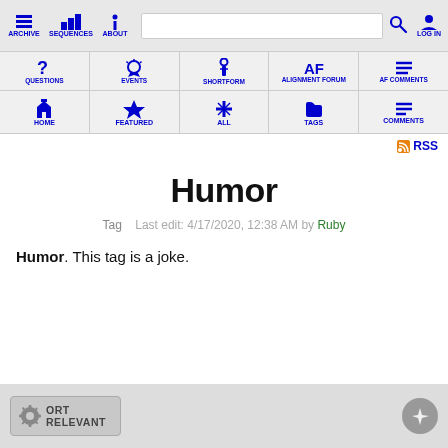ARCHIVE | SEQUENCES | ABOUT | [search] | [search icon] | LOG IN
QUESTIONS | EVENTS | SHORTFORM | ALIGNMENT FORUM | AF COMMENTS
HOME | FEATURED | ALL | TAGS | COMMENTS
RSS
Humor
Tag   Last edit: 4/17/2020, 12:38 AM by Ruby
Humor. This tag is a joke.
SORT RELEVANT